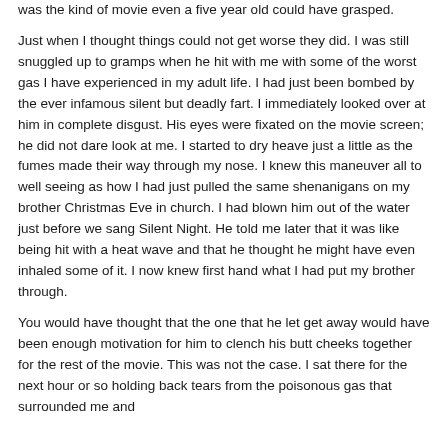was the kind of movie even a five year old could have grasped.
Just when I thought things could not get worse they did. I was still snuggled up to gramps when he hit with me with some of the worst gas I have experienced in my adult life. I had just been bombed by the ever infamous silent but deadly fart. I immediately looked over at him in complete disgust. His eyes were fixated on the movie screen; he did not dare look at me. I started to dry heave just a little as the fumes made their way through my nose. I knew this maneuver all to well seeing as how I had just pulled the same shenanigans on my brother Christmas Eve in church. I had blown him out of the water just before we sang Silent Night. He told me later that it was like being hit with a heat wave and that he thought he might have even inhaled some of it. I now knew first hand what I had put my brother through.
You would have thought that the one that he let get away would have been enough motivation for him to clench his butt cheeks together for the rest of the movie. This was not the case. I sat there for the next hour or so holding back tears from the poisonous gas that surrounded me and